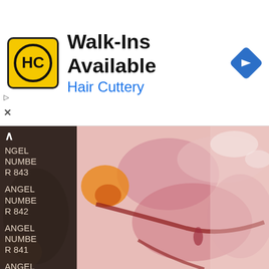[Figure (screenshot): Hair Cuttery advertisement banner with yellow logo, 'Walk-Ins Available' heading, blue subtitle 'Hair Cuttery', and a blue navigation arrow icon on the right.]
[Figure (photo): Screenshot of a mobile app or website showing a list of 'Angel Number' items (843, 842, 841, 840, 839, 838, ANGEL...) on the left over a dark semi-transparent overlay, with a colorful watercolor painting background (pink, red, orange hues) visible on the right side.]
ANGEL NUMBER 843
ANGEL NUMBER 842
ANGEL NUMBER 841
ANGEL NUMBER 840
ANGEL NUMBER 839
ANGEL NUMBER 838
ANGEL